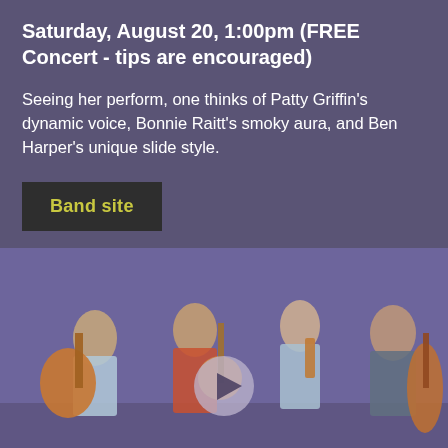Saturday, August 20, 1:00pm (FREE Concert - tips are encouraged)
Seeing her perform, one thinks of Patty Griffin's dynamic voice, Bonnie Raitt's smoky aura, and Ben Harper's unique slide style.
Band site
[Figure (photo): Four musicians standing against a purple brick wall: one holding a large archtop guitar, one with a banjo, one with a violin, and one with a double bass. A semi-transparent play button overlay is centered on the image.]